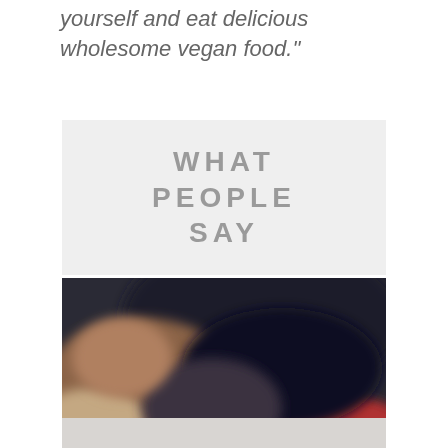yourself and eat delicious wholesome vegan food."
WHAT PEOPLE SAY
[Figure (photo): A blurred close-up photo of people eating food, dark tones with some red visible at the bottom, bokeh effect.]